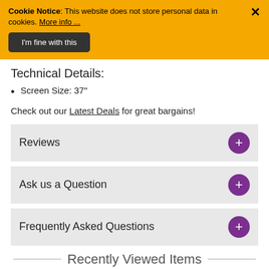Cookie Notice: This website does not store personal data in cookies. More info ...
I'm fine with this
Technical Details:
Screen Size: 37"
Check out our Latest Deals for great bargains!
Reviews
Ask us a Question
Frequently Asked Questions
Recently Viewed Items